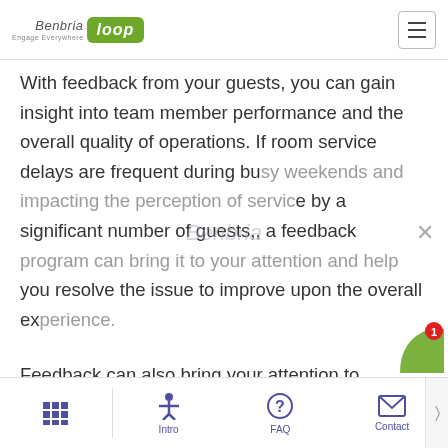Benbria Loop — Engage Everywhere
With feedback from your guests, you can gain insight into team member performance and the overall quality of operations. If room service delays are frequent during busy weekends and impacting the perception of service by a significant number of guests,, a feedback program can bring it to your attention and help you resolve the issue to improve upon the overall experience.
Feedback can also bring your attention to
Intro | FAQ | Contact